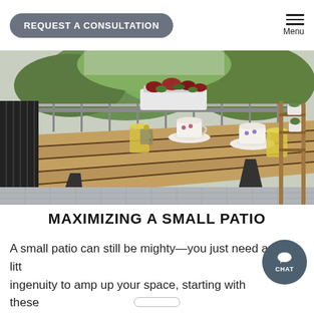REQUEST A CONSULTATION | Menu
[Figure (photo): A small balcony patio with a wooden slatted table set with teacups and glass pitchers, hanging white flower planters on a railing, greenery in the background, and a wooden ladder shelf with potted plants on the right side. Gray tile floor visible below.]
MAXIMIZING A SMALL PATIO
A small patio can still be mighty—you just need a little ingenuity to amp up your space, starting with these easy-to-implement ideas.